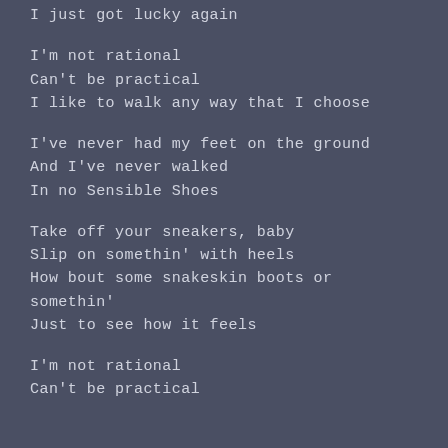I just got lucky again
I'm not rational
Can't be practical
I like to walk any way that I choose
I've never had my feet on the ground
And I've never walked
In no Sensible Shoes
Take off your sneakers, baby
Slip on somethin' with heels
How bout some snakeskin boots or somethin'
Just to see how it feels
I'm not rational
Can't be practical